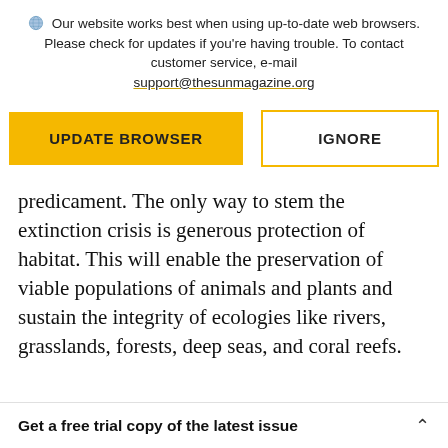Our website works best when using up-to-date web browsers. Please check for updates if you're having trouble. To contact customer service, e-mail support@thesunmagazine.org
[Figure (other): Two buttons: a yellow filled button labeled UPDATE BROWSER and a white button with yellow border labeled IGNORE]
predicament. The only way to stem the extinction crisis is generous protection of habitat. This will enable the preservation of viable populations of animals and plants and sustain the integrity of ecologies like rivers, grasslands, forests, deep seas, and coral reefs.
Get a free trial copy of the latest issue